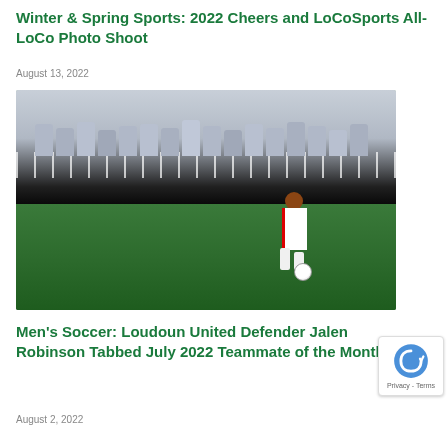Winter & Spring Sports: 2022 Cheers and LoCoSports All-LoCo Photo Shoot
August 13, 2022
[Figure (photo): Soccer player in white and red uniform with ball on green turf field, spectators in bleachers behind metal fence in background]
Men's Soccer: Loudoun United Defender Jalen Robinson Tabbed July 2022 Teammate of the Month
August 2, 2022